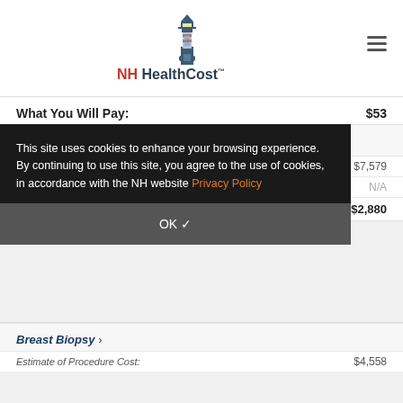NH HealthCost TM
What You Will Pay: $53
Brain MRI >
Estimate of Procedure Cost: $7,579
Number of Visits: N/A
What You Will Pay: $2,880
This site uses cookies to enhance your browsing experience. By continuing to use this site, you agree to the use of cookies, in accordance with the NH website Privacy Policy
OK ✓
Breast Biopsy >
Estimate of Procedure Cost: $4,558